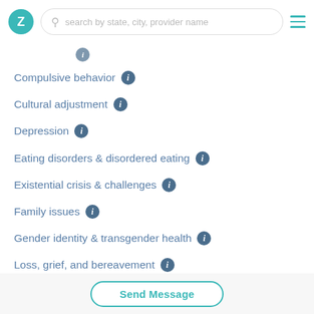Z | search by state, city, provider name | menu
Compulsive behavior
Cultural adjustment
Depression
Eating disorders & disordered eating
Existential crisis & challenges
Family issues
Gender identity & transgender health
Loss, grief, and bereavement
Self harm
Self esteem
Send Message